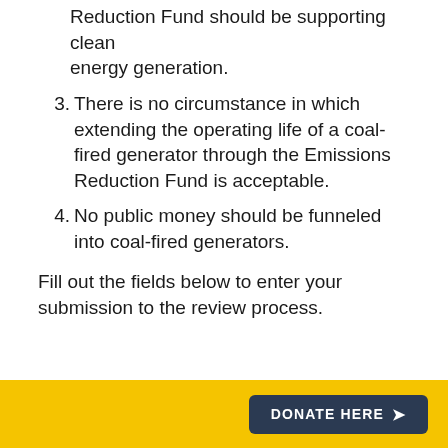Reduction Fund should be supporting clean energy generation.
3. There is no circumstance in which extending the operating life of a coal-fired generator through the Emissions Reduction Fund is acceptable.
4. No public money should be funneled into coal-fired generators.
Fill out the fields below to enter your submission to the review process.
[Figure (other): Yellow footer bar with dark navy 'DONATE HERE >' button on the right side]